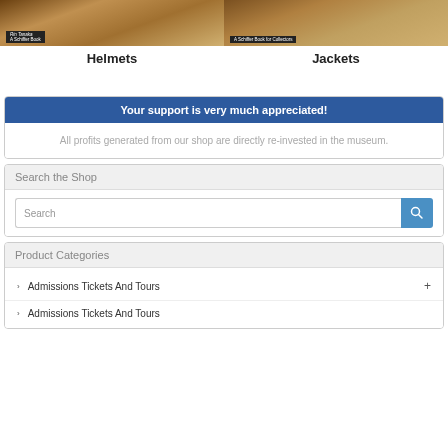[Figure (screenshot): Product image for Helmets book]
Helmets
[Figure (screenshot): Product image for Jackets book]
Jackets
Your support is very much appreciated!
All profits generated from our shop are directly re-invested in the museum.
Search the Shop
Search
Product Categories
Admissions Tickets And Tours
Admissions Tickets And Tours